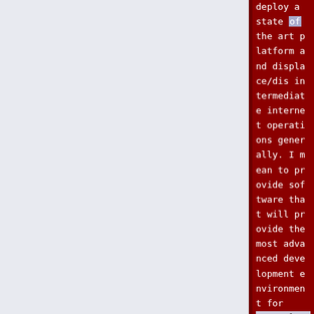deploy a state of the art platform and displace/dis intermediate internet operations generally. I mean to provide software that will provide the most advanced development environment for <span class="plain links">[http://ai-